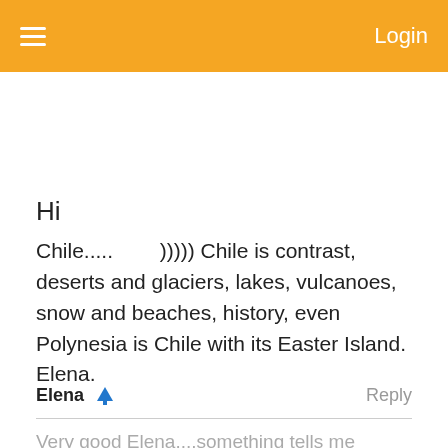≡   Login
Hi
Chile.....        ))))) Chile is contrast, deserts and glaciers, lakes, vulcanoes, snow and beaches, history, even Polynesia is Chile with its Easter Island. Elena.
Elena 🌲   Reply
Very good Elena....something tells me (maybe your name) that you might know Spanish or even be from Chile.